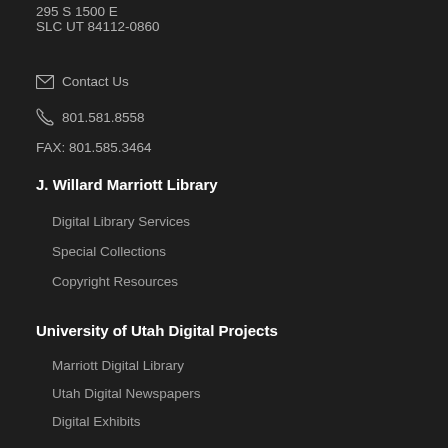295 S 1500 E
SLC UT 84112-0860
Contact Us
801.581.8558
FAX: 801.585.3464
J. Willard Marriott Library
Digital Library Services
Special Collections
Copyright Resources
University of Utah Digital Projects
Marriott Digital Library
Utah Digital Newspapers
Digital Exhibits
Collections as Data
Digital Library News